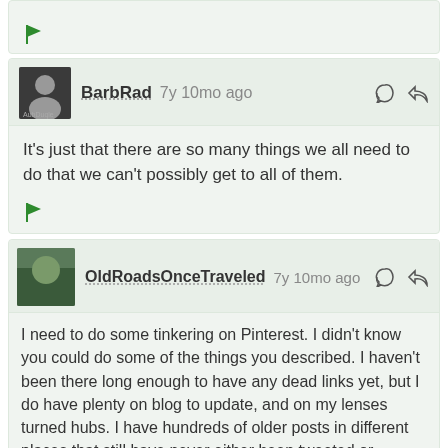[Figure (screenshot): Partial comment card showing only a green flag icon at bottom]
BarbRad 7y 10mo ago
It's just that there are so many things we all need to do that we can't possibly get to all of them.
OldRoadsOnceTraveled 7y 10mo ago
I need to do some tinkering on Pinterest. I didn't know you could do some of the things you described. I haven't been there long enough to have any dead links yet, but I do have plenty on blog to update, and on my lenses turned hubs. I have hundreds of older posts in different places that still have never either been tweeted or pinned. So much housekeeping to do!
BarbRad 7y 10mo ago